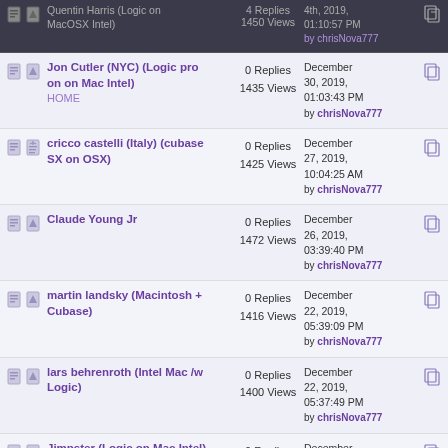Quentin Harris (Logic on MacOSX Intel) — 4 Replies, 1450 Views — 4th 2019, 01:10:57 PM by chrisNova777
Jon Cutler (NYC) (Logic pro on on Mac Intel) HOME — 0 Replies, 1435 Views — December 30, 2019, 01:03:43 PM by chrisNova777
cricco castelli (Italy) (cubase SX on OSX) — 0 Replies, 1425 Views — December 27, 2019, 10:04:25 AM by chrisNova777
Claude Young Jr — 0 Replies, 1472 Views — December 26, 2019, 03:39:40 PM by chrisNova777
martin landsky (Macintosh + Cubase) — 0 Replies, 1416 Views — December 22, 2019, 05:39:09 PM by chrisNova777
lars behrenroth (Intel Mac /w Logic) — 0 Replies, 1400 Views — December 22, 2019, 05:37:49 PM by chrisNova777
Jimpster (Logic on Mac Intel) — 0 Replies, 1400 Views — December 22, 2019, 05:34:55 PM by chrisNova777